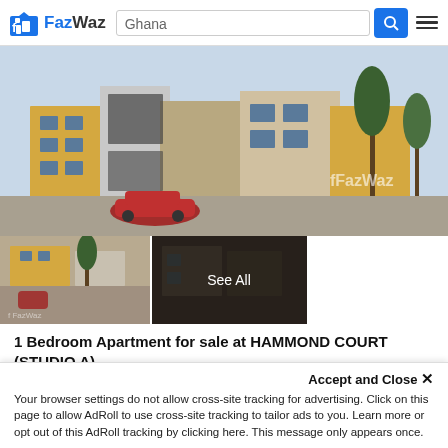FazWaz — Ghana search bar
[Figure (photo): Exterior rendering of HAMMOND COURT residential apartment complex with modern architecture, cars in forecourt and trees]
[Figure (photo): Thumbnail images of the property with a 'See All' overlay on the second thumbnail]
1 Bedroom Apartment for sale at HAMMOND COURT (STUDIO A)
This property is a 32 SqM apartment with 1 bedroom and 1 bathroom that is available for sale.. You can buy this apartment for a base price of $53,500 ($1,673/SqM). It is part of the HAMMOND COURT (STU...
1   1   32 SqM   Apartment
Accept and Close ×
Your browser settings do not allow cross-site tracking for advertising. Click on this page to allow AdRoll to use cross-site tracking to tailor ads to you. Learn more or opt out of this AdRoll tracking by clicking here. This message only appears once.